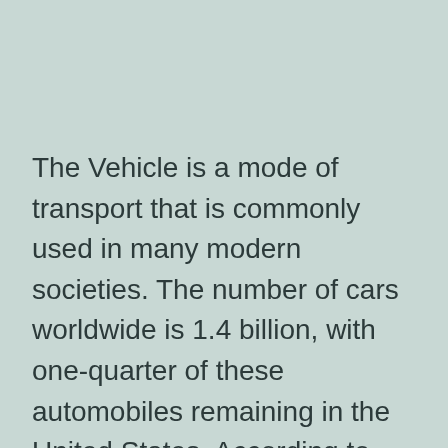The Vehicle is a mode of transport that is commonly used in many modern societies. The number of cars worldwide is 1.4 billion, with one-quarter of these automobiles remaining in the United States. According to statistics, the ordinary American drives around 3 trillion miles annually. Makers have actually been able to segment the marketplace by introducing new layouts and also attributes a lot more frequently, as well as they have developed sophisticated innovations that allow them to